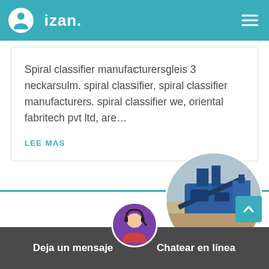izan.
Spiral classifier manufacturersgleis 3 neckarsulm. spiral classifier, spiral classifier manufacturers. spiral classifier we, oriental fabritech pvt ltd, are…
LEE MAS
[Figure (photo): Circular photo of industrial blue mining/crushing machine on outdoor site with cloudy sky]
[Figure (photo): Chat support avatar: woman with headset]
Deja un mensaje   Chatear en línea